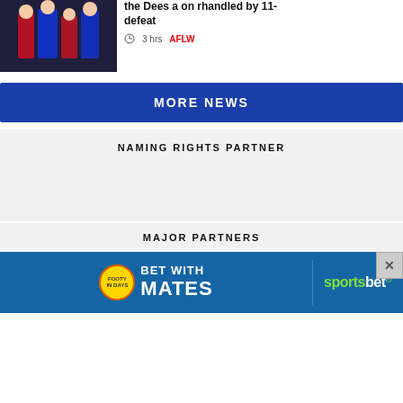[Figure (photo): AFLW players in Melbourne Demons uniforms walking through a tunnel]
the Dees a on rhandled by 11-defeat
3 hrs  AFLW
MORE NEWS
NAMING RIGHTS PARTNER
MAJOR PARTNERS
[Figure (photo): Sportsbet advertisement banner: BET WITH MATES sportsbet logo]